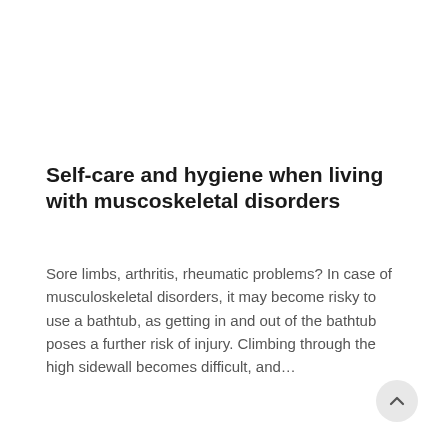Self-care and hygiene when living with muscoskeletal disorders
Sore limbs, arthritis, rheumatic problems? In case of musculoskeletal disorders, it may become risky to use a bathtub, as getting in and out of the bathtub poses a further risk of injury. Climbing through the high sidewall becomes difficult, and…